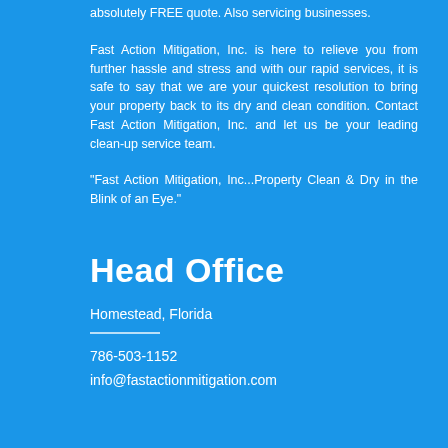absolutely FREE quote. Also servicing businesses.
Fast Action Mitigation, Inc. is here to relieve you from further hassle and stress and with our rapid services, it is safe to say that we are your quickest resolution to bring your property back to its dry and clean condition. Contact Fast Action Mitigation, Inc. and let us be your leading clean-up service team.
"Fast Action Mitigation, Inc...Property Clean & Dry in the Blink of an Eye."
Head Office
Homestead, Florida
786-503-1152
info@fastactionmitigation.com